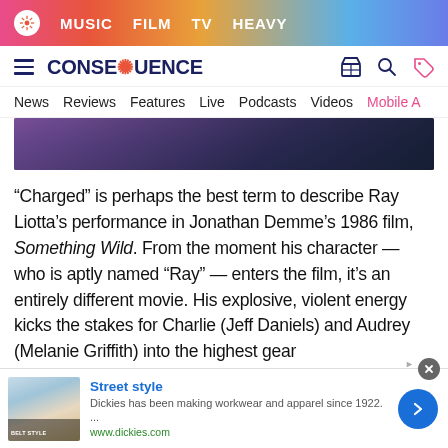MUSIC  FILM  TV  HEAVY
CONSEQUENCE
News  Reviews  Features  Live  Podcasts  Videos  Mobile A
[Figure (photo): Cropped hero image showing a dark purple/teal scene, partially visible at top of article]
“Charged” is perhaps the best term to describe Ray Liotta’s performance in Jonathan Demme’s 1986 film, Something Wild. From the moment his character — who is aptly named “Ray” — enters the film, it’s an entirely different movie. His explosive, violent energy kicks the stakes for Charlie (Jeff Daniels) and Audrey (Melanie Griffith) into the highest gear
[Figure (screenshot): Advertisement banner: Street style - Dickies has been making workwear and apparel since 1922. www.dickies.com]